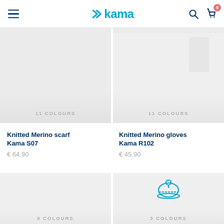Kama — navigation bar with hamburger menu, logo, search and cart icons
[Figure (photo): Product image area for Knitted Merino scarf Kama S07, light grey background, 11 COLOURS label]
[Figure (photo): Product image area for Knitted Merino gloves Kama R102, light grey background with faint glove image, 11 COLOURS label]
Knitted Merino scarf Kama S07
€ 64,90
Knitted Merino gloves Kama R102
€ 45,90
[Figure (photo): Product image area, light grey background, 9 COLOURS label]
[Figure (photo): Product image area with teal knit hat icon, light grey background, 3 COLOURS label]